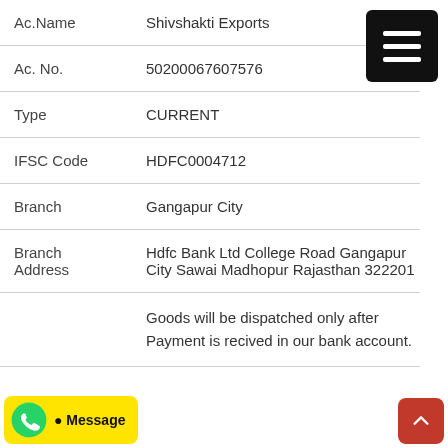| Field | Value |
| --- | --- |
| Ac.Name | Shivshakti Exports |
| Ac. No. | 50200067607576 |
| Type | CURRENT |
| IFSC Code | HDFC0004712 |
| Branch | Gangapur City |
| Branch Address | Hdfc Bank Ltd College Road Gangapur City Sawai Madhopur Rajasthan 322201 |
Goods will be dispatched only after Payment is recived in our bank account.